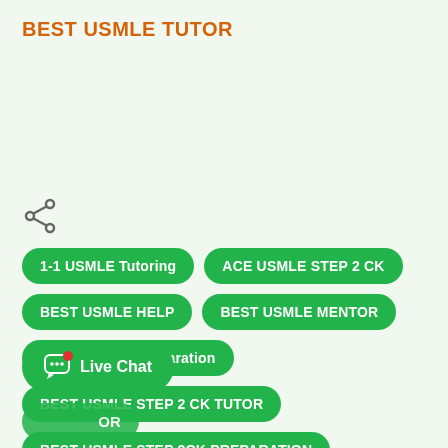BEST USMLE TUTOR
[Figure (other): Share icon (less-than symbol style) in gray]
1-1 USMLE Tutoring
ACE USMLE STEP 2 CK
BEST USMLE HELP
BEST USMLE MENTOR
BEST USMLE preparation
BEST USMLE STEP 2 CK TUTOR
BEST USMLE STEP 2CK PREPARATION
Live Chat
BEST USMLE TUTOR (partially visible)